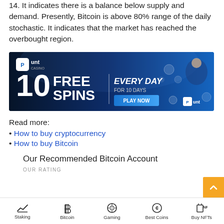14. It indicates there is a balance below supply and demand. Presently, Bitcoin is above 80% range of the daily stochastic. It indicates that the market has reached the overbought region.
[Figure (infographic): Punt Casino advertisement banner: '10 FREE SPINS EVERY DAY FOR 10 DAYS | PLAY NOW' with casino logo and a person celebrating]
Read more:
How to buy cryptocurrency
How to buy Bitcoin
Our Recommended Bitcoin Account
OUR RATING
Staking | Bitcoin | Gaming | Best Coins | Buy NFTs